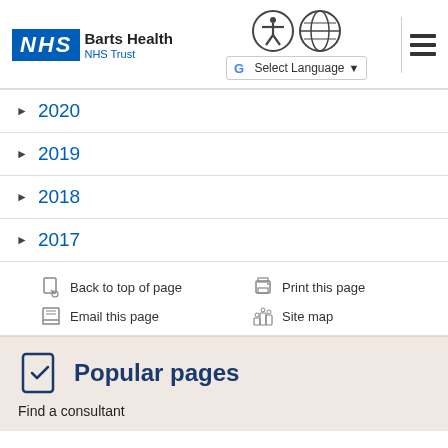[Figure (logo): NHS Barts Health NHS Trust logo with NHS blue box and accessibility/language icons and hamburger menu]
▶ 2020
▶ 2019
▶ 2018
▶ 2017
[Figure (infographic): Page action links: Back to top of page, Print this page, Email this page, Site map with icons]
Popular pages
Find a consultant